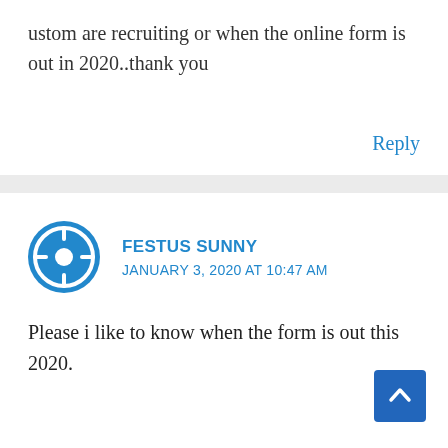ustom are recruiting or when the online form is out in 2020..thank you
Reply
FESTUS SUNNY
JANUARY 3, 2020 AT 10:47 AM
Please i like to know when the form is out this 2020.
Reply